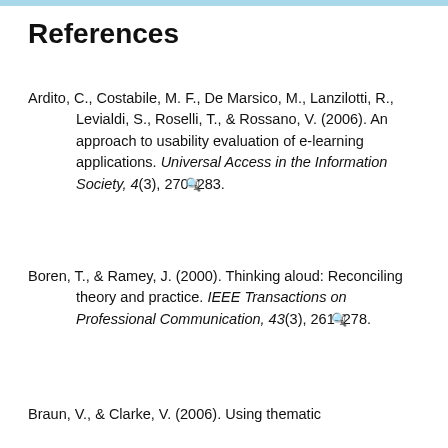References
Ardito, C., Costabile, M. F., De Marsico, M., Lanzilotti, R., Levialdi, S., Roselli, T., & Rossano, V. (2006). An approach to usability evaluation of e-learning applications. Universal Access in the Information Society, 4(3), 270–283.
Boren, T., & Ramey, J. (2000). Thinking aloud: Reconciling theory and practice. IEEE Transactions on Professional Communication, 43(3), 261–278.
Braun, V., & Clarke, V. (2006). Using thematic analysis in psychology. Qualitative Research...